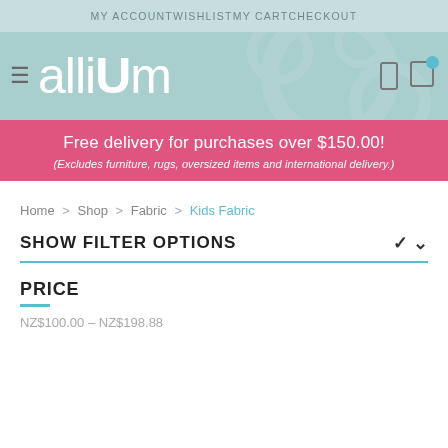MY ACCOUNT   WISHLIST   MY CART   CHECKOUT
[Figure (logo): alliUm store logo with hamburger menu icon on teal/mint background, search and cart icons on the right]
Free delivery for purchases over $150.00!
(Excludes furniture, rugs, oversized items and international delivery.)
Home > Shop > Fabric > Kids Fabric
SHOW FILTER OPTIONS
PRICE
NZ$100.00 – NZ$198.88